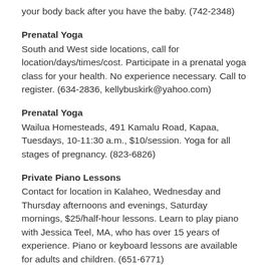your body back after you have the baby. (742-2348)
Prenatal Yoga
South and West side locations, call for location/days/times/cost. Participate in a prenatal yoga class for your health. No experience necessary. Call to register. (634-2836, kellybuskirk@yahoo.com)
Prenatal Yoga
Wailua Homesteads, 491 Kamalu Road, Kapaa, Tuesdays, 10-11:30 a.m., $10/session. Yoga for all stages of pregnancy. (823-6826)
Private Piano Lessons
Contact for location in Kalaheo, Wednesday and Thursday afternoons and evenings, Saturday mornings, $25/half-hour lessons. Learn to play piano with Jessica Teel, MA, who has over 15 years of experience. Piano or keyboard lessons are available for adults and children. (651-6771)